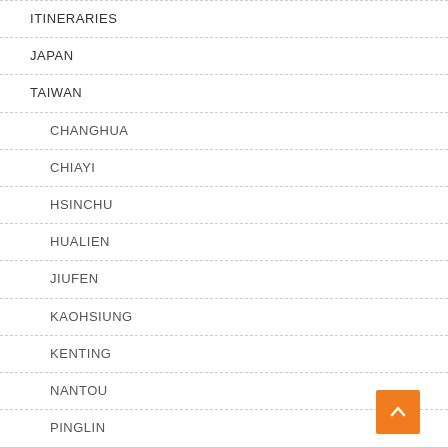ITINERARIES
JAPAN
TAIWAN
CHANGHUA
CHIAYI
HSINCHU
HUALIEN
JIUFEN
KAOHSIUNG
KENTING
NANTOU
PINGLIN